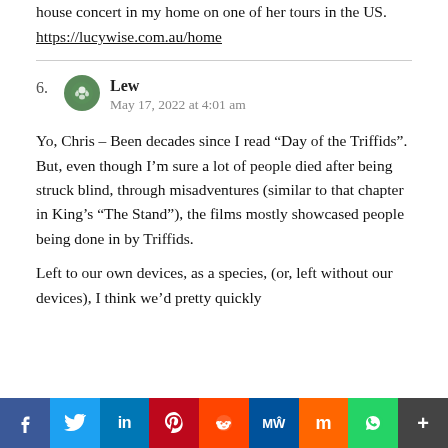house concert in my home on one of her tours in the US.
https://lucywise.com.au/home
6. Lew
May 17, 2022 at 4:01 am

Yo, Chris – Been decades since I read "Day of the Triffids". But, even though I'm sure a lot of people died after being struck blind, through misadventures (similar to that chapter in King's "The Stand"), the films mostly showcased people being done in by Triffids.

Left to our own devices, as a species, (or, left without our devices), I think we'd pretty quickly
f  Twitter  in  Pinterest  Reddit  MW  Mix  WhatsApp  More